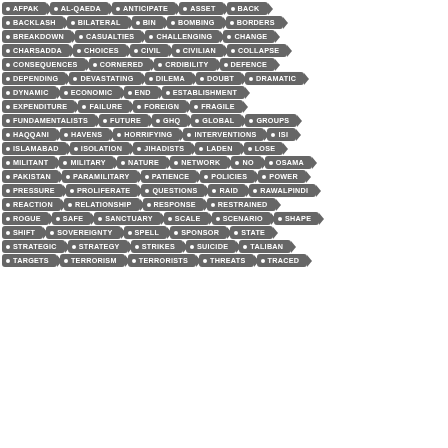[Figure (infographic): Tag cloud / keyword list with dark gray rounded rectangular tags arranged in rows. Each tag has a bullet dot and uppercase text. Keywords include: AFPAK, AL-QAEDA, ANTICIPATE, ASSET, BACK, BACKLASH, BILATERAL, BIN, BOMBING, BORDERS, BREAKDOWN, CASUALTIES, CHALLENGING, CHANGE, CHARSADDA, CHOICES, CIVIL, CIVILIAN, COLLAPSE, CONSEQUENCES, CORNERED, CRDIBILITY, DEFENCE, DEPENDING, DEVASTATING, DILEMA, DOUBT, DRAMATIC, DYNAMIC, ECONOMIC, END, ESTABLISHMENT, EXPENDITURE, FAILURE, FOREIGN, FRAGILE, FUNDAMENTALISTS, FUTURE, GHQ, GLOBAL, GROUPS, HAQQANI, HAVENS, HORRIFYING, INTERVENTIONS, ISI, ISLAMABAD, ISOLATION, JIHADISTS, LADEN, LOSE, MILITANT, MILITARY, NATURE, NETWORK, NO, OSAMA, PAKISTAN, PARAMILITARY, PATIENCE, POLICIES, POWER, PRESSURE, PROLIFERATE, QUESTIONS, RAID, RAWALPINDI, REACTION, RELATIONSHIP, RESPONSE, RESTRAINED, ROGUE, SAFE, SANCTUARY, SCALE, SCENARIO, SHAPE, SHIFT, SOVEREIGNTY, SPELL, SPONSOR, STATE, STRATEGIC, STRATEGY, STRIKES, SUICIDE, TALIBAN, TARGETS, TERRORISM, TERRORISTS, THREATS, TRACED]